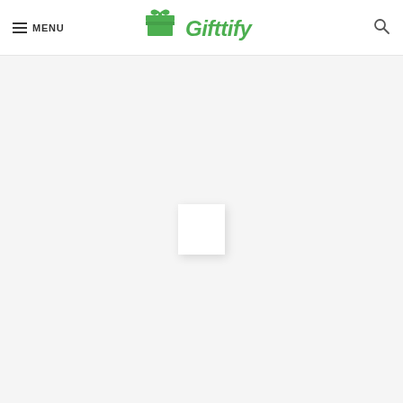MENU | Gifttify [logo] | Search
[Figure (logo): Gifttify brand logo with green gift box icon and green italic text reading Gifttify]
[Figure (other): Loading spinner/white square box centered on light gray background content area]